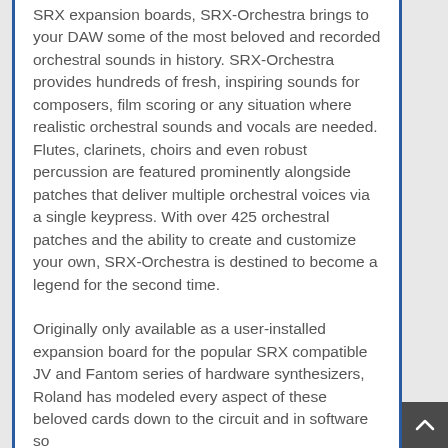SRX expansion boards, SRX-Orchestra brings to your DAW some of the most beloved and recorded orchestral sounds in history. SRX-Orchestra provides hundreds of fresh, inspiring sounds for composers, film scoring or any situation where realistic orchestral sounds and vocals are needed. Flutes, clarinets, choirs and even robust percussion are featured prominently alongside patches that deliver multiple orchestral voices via a single keypress. With over 425 orchestral patches and the ability to create and customize your own, SRX-Orchestra is destined to become a legend for the second time.
Originally only available as a user-installed expansion board for the popular SRX compatible JV and Fantom series of hardware synthesizers, Roland has modeled every aspect of these beloved cards down to the circuit and in software so